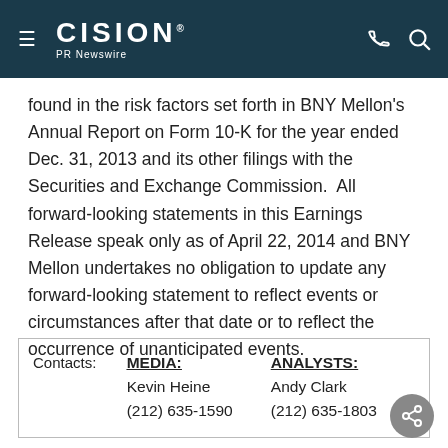CISION PR Newswire
found in the risk factors set forth in BNY Mellon's Annual Report on Form 10-K for the year ended Dec. 31, 2013 and its other filings with the Securities and Exchange Commission.  All forward-looking statements in this Earnings Release speak only as of April 22, 2014 and BNY Mellon undertakes no obligation to update any forward-looking statement to reflect events or circumstances after that date or to reflect the occurrence of unanticipated events.
| Contacts: | MEDIA: | ANALYSTS: |
| --- | --- | --- |
|  | Kevin Heine | Andy Clark |
|  | (212) 635-1590 | (212) 635-1803 |